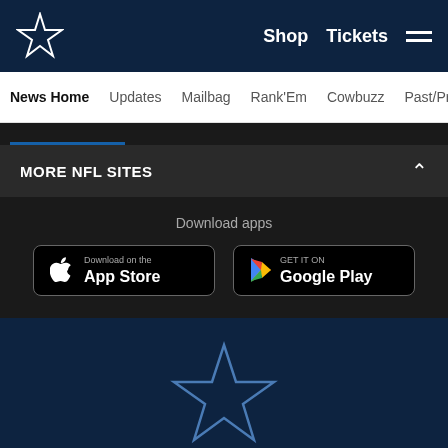Dallas Cowboys — Shop  Tickets  [menu]
News Home  Updates  Mailbag  Rank'Em  Cowbuzz  Past/Pres
MORE NFL SITES
Download apps
[Figure (screenshot): Download on the App Store button]
[Figure (screenshot): GET IT ON Google Play button]
[Figure (logo): Dallas Cowboys star logo]
©2021 Dallas Cowboys. All rights reserved. Do not duplicate in any form without permission of the Dallas Cowboys.
[Figure (infographic): Social media icons: Facebook, Twitter, Email, Link]